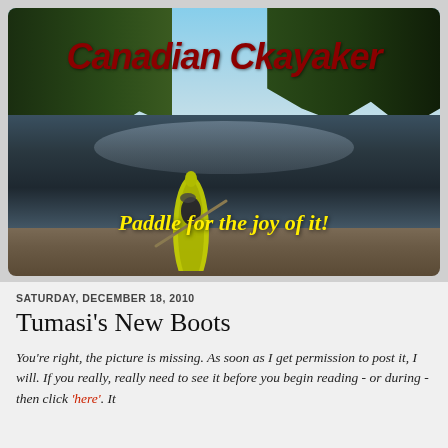[Figure (photo): Blog header banner showing a kayak at the shore of a calm forest lake with reflections, with the blog title 'Canadian Ckayaker' in dark red italic text and tagline 'Paddle for the joy of it!' in yellow italic text overlaid on the photo.]
SATURDAY, DECEMBER 18, 2010
Tumasi's New Boots
You're right, the picture is missing. As soon as I get permission to post it, I will. If you really, really need to see it before you begin reading - or during - then click 'here'. It